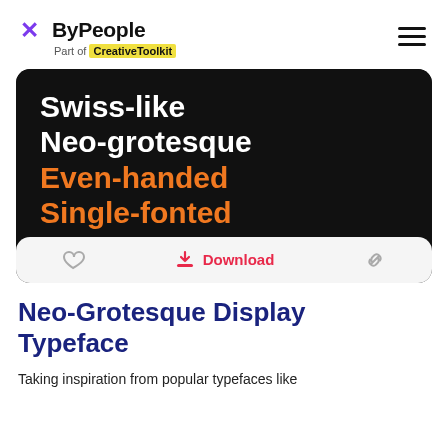ByPeople — Part of CreativeToolkit
[Figure (screenshot): Dark card showing text: Swiss-like / Neo-grotesque (white) / Even-handed / Single-fonted (orange), with a bottom bar showing heart icon, Download button (pink), and link icon]
Neo-Grotesque Display Typeface
Taking inspiration from popular typefaces like